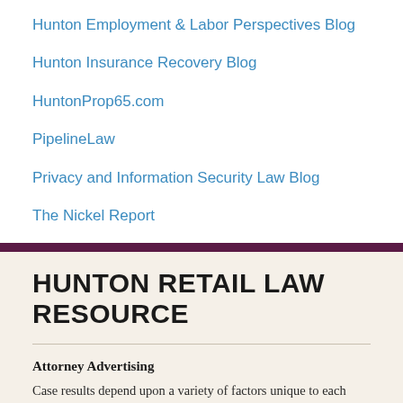Hunton Employment & Labor Perspectives Blog
Hunton Insurance Recovery Blog
HuntonProp65.com
PipelineLaw
Privacy and Information Security Law Blog
The Nickel Report
HUNTON RETAIL LAW RESOURCE
Attorney Advertising
Case results depend upon a variety of factors unique to each case. Case results do not guarantee or predict a